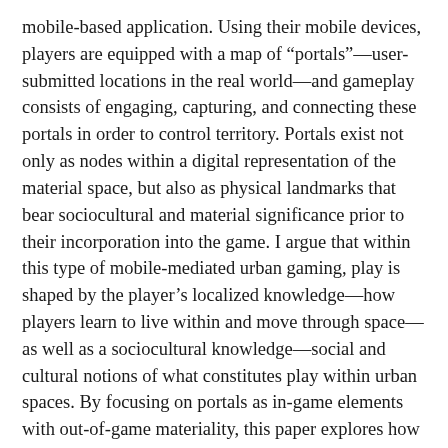mobile-based application. Using their mobile devices, players are equipped with a map of “portals”—user-submitted locations in the real world—and gameplay consists of engaging, capturing, and connecting these portals in order to control territory. Portals exist not only as nodes within a digital representation of the material space, but also as physical landmarks that bear sociocultural and material significance prior to their incorporation into the game. I argue that within this type of mobile-mediated urban gaming, play is shaped by the player’s localized knowledge—how players learn to live within and move through space—as well as a sociocultural knowledge—social and cultural notions of what constitutes play within urban spaces. By focusing on portals as in-game elements with out-of-game materiality, this paper explores how players’ individual knowledge of the urban environment informs larger cultural notions of what constitutes play.
This paper suggests that, through portals, players are engaging